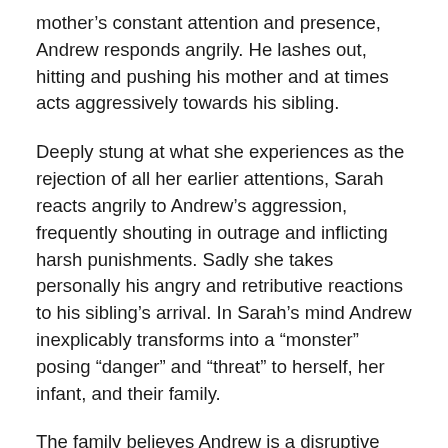mother's constant attention and presence, Andrew responds angrily. He lashes out, hitting and pushing his mother and at times acts aggressively towards his sibling.
Deeply stung at what she experiences as the rejection of all her earlier attentions, Sarah reacts angrily to Andrew's aggression, frequently shouting in outrage and inflicting harsh punishments. Sadly she takes personally his angry and retributive reactions to his sibling's arrival. In Sarah's mind Andrew inexplicably transforms into a “monster” posing “danger” and “threat” to herself, her infant, and their family.
The family believes Andrew is a disruptive and